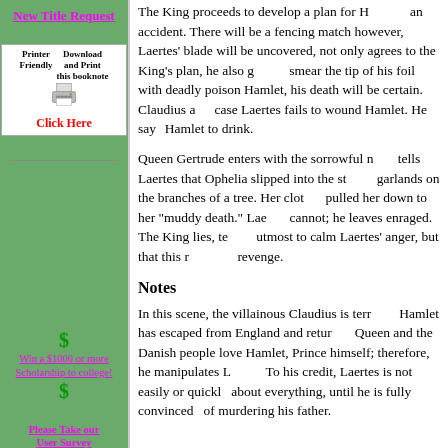New Title Request
[Figure (other): Printer icon with text 'Printer Friendly Download and Print this booknote Click Here']
The King proceeds to develop a plan for Hamlet's accidental death. There will be a fencing match; however, Laertes' blade will be uncovered. Laertes not only agrees to the King's plan, he also goes on to smear the tip of his foil with deadly poison so that if it wounds Hamlet, his death will be certain. Claudius also prepares a cup of wine in case Laertes fails to wound Hamlet. He says he will offer it to Hamlet to drink.
Queen Gertrude enters with the sorrowful news that Ophelia has drowned. She tells Laertes that Ophelia slipped into the stream while hanging garlands on the branches of a tree. Her clothes spread out and pulled her down to her "muddy death." Laertes tries to weep but cannot; he leaves enraged. The King lies, telling the Queen he has done his utmost to calm Laertes' anger, but that this may rekindle his revenge.
Notes
In this scene, the villainous Claudius is terrified because Hamlet has escaped from England and returned. He knows that the Queen and the Danish people love Hamlet, so he cannot kill the Prince himself; therefore, he manipulates Laertes into doing it. To his credit, Laertes is not easily or quickly persuaded about everything, until he is fully convinced of murdering his father.
Win a $1000 or more Scholarship to college!
Please Take our User Survey